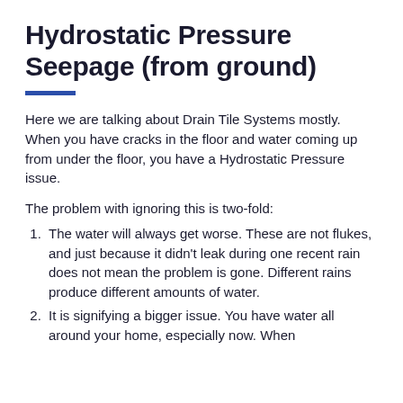Hydrostatic Pressure Seepage (from ground)
Here we are talking about Drain Tile Systems mostly. When you have cracks in the floor and water coming up from under the floor, you have a Hydrostatic Pressure issue.
The problem with ignoring this is two-fold:
The water will always get worse. These are not flukes, and just because it didn’t leak during one recent rain does not mean the problem is gone. Different rains produce different amounts of water.
It is signifying a bigger issue. You have water all around your home, especially now. When